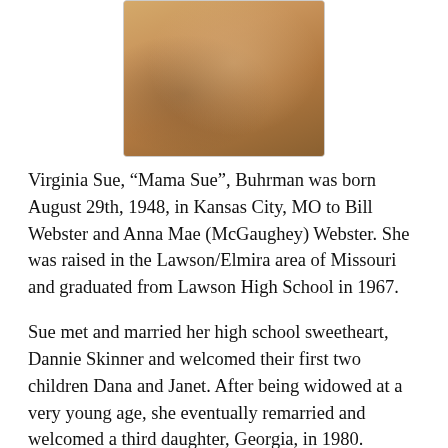[Figure (photo): A person wearing an orange/brown floral top, photographed from behind, standing near a counter or shelf with a window visible in the background.]
Virginia Sue, “Mama Sue”, Buhrman was born August 29th, 1948, in Kansas City, MO to Bill Webster and Anna Mae (McGaughey) Webster. She was raised in the Lawson/Elmira area of Missouri and graduated from Lawson High School in 1967.
Sue met and married her high school sweetheart, Dannie Skinner and welcomed their first two children Dana and Janet. After being widowed at a very young age, she eventually remarried and welcomed a third daughter, Georgia, in 1980. Fortunately, God found a new path for Sue by finding her a new partner, Jack Burhman. They married on May 12th, 2000 and created a wonderful extended family of children, grand children, and great grandchildren.